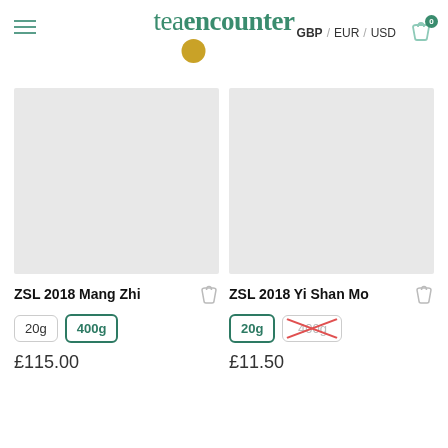teaencounter — GBP / EUR / USD
[Figure (photo): Product image placeholder for ZSL 2018 Mang Zhi (grey rectangle)]
[Figure (photo): Product image placeholder for ZSL 2018 Yi Shan Mo (grey rectangle)]
ZSL 2018 Mang Zhi
ZSL 2018 Yi Shan Mo
20g | 400g (selected)
20g (selected) | 400g (unavailable)
£115.00
£11.50